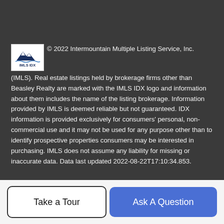© 2022 Intermountain Multiple Listing Service, Inc. (IMLS). Real estate listings held by brokerage firms other than Beasley Realty are marked with the IMLS IDX logo and information about them includes the name of the listing brokerage. Information provided by IMLS is deemed reliable but not guaranteed. IDX information is provided exclusively for consumers' personal, non-commercial use and it may not be used for any purpose other than to identify prospective properties consumers may be interested in purchasing. IMLS does not assume any liability for missing or inaccurate data. Data last updated 2022-08-22T17:10:34.853.
© 2022 Pacific Regional Multiple Listing Service. All rights reserved. IDX information is provided exclusively for consumers' personal, non-commercial use and may not be used for any purpose other than to identify prospective properties consumers...
Take a Tour
Ask A Question